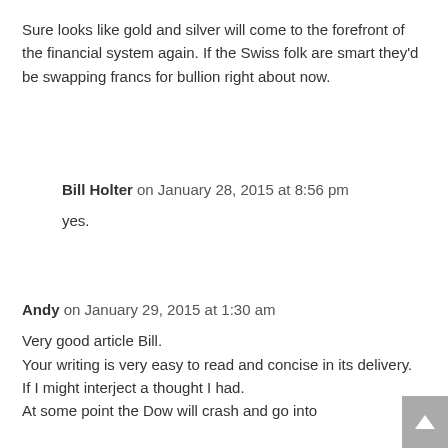Sure looks like gold and silver will come to the forefront of the financial system again. If the Swiss folk are smart they'd be swapping francs for bullion right about now.
Bill Holter on January 28, 2015 at 8:56 pm
yes.
Andy on January 29, 2015 at 1:30 am
Very good article Bill.
Your writing is very easy to read and concise in its delivery.
If I might interject a thought I had.
At some point the Dow will crash and go into